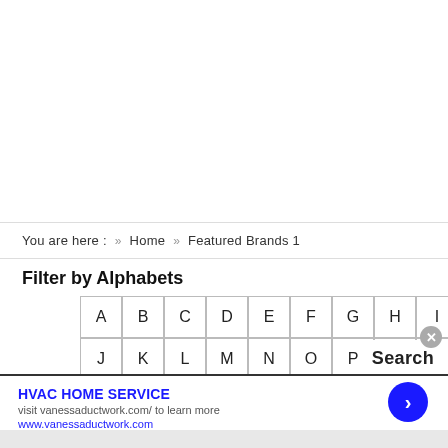You are here : >> Home >> Featured Brands 1
Filter by Alphabets
[Figure (other): Alphabet filter grid with letters A-I in first row and J-Q in second row]
Search
HVAC HOME SERVICE
visit vanessaductwork.com/ to learn more
www.vanessaductwork.com